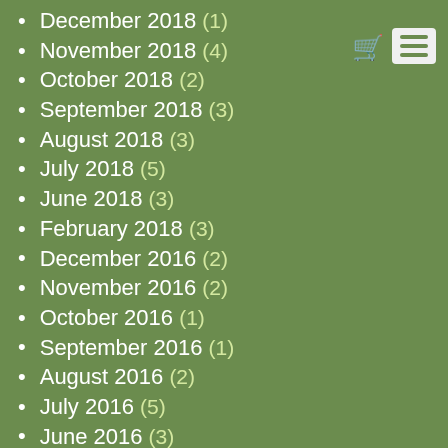[Figure (other): Shopping cart icon (blue) and hamburger menu button (white/green) in top right corner]
December 2018 (1)
November 2018 (4)
October 2018 (2)
September 2018 (3)
August 2018 (3)
July 2018 (5)
June 2018 (3)
February 2018 (3)
December 2016 (2)
November 2016 (2)
October 2016 (1)
September 2016 (1)
August 2016 (2)
July 2016 (5)
June 2016 (3)
May 2016 (2)
April 2016 (1)
March 2016 (2)
February 2016 (3)